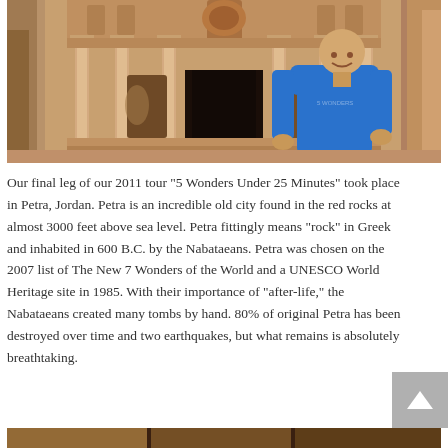[Figure (photo): A man in a blue long-sleeve shirt standing in front of the Treasury (Al-Khazneh) at Petra, Jordan. The iconic rose-red sandstone facade with Corinthian columns is visible behind him.]
Our final leg of our 2011 tour “5 Wonders Under 25 Minutes” took place in Petra, Jordan. Petra is an incredible old city found in the red rocks at almost 3000 feet above sea level. Petra fittingly means “rock” in Greek and inhabited in 600 B.C. by the Nabataeans. Petra was chosen on the 2007 list of The New 7 Wonders of the World and a UNESCO World Heritage site in 1985. With their importance of “after-life,” the Nabataeans created many tombs by hand. 80% of original Petra has been destroyed over time and two earthquakes, but what remains is absolutely breathtaking.
[Figure (photo): Partial view of another photo at the bottom of the page, appears to show people at Petra.]